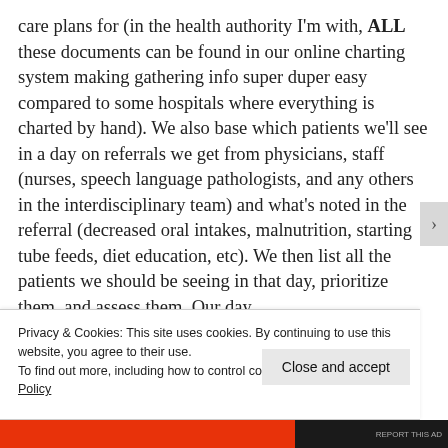care plans for (in the health authority I'm with, ALL these documents can be found in our online charting system making gathering info super duper easy compared to some hospitals where everything is charted by hand). We also base which patients we'll see in a day on referrals we get from physicians, staff (nurses, speech language pathologists, and any others in the interdisciplinary team) and what's noted in the referral (decreased oral intakes, malnutrition, starting tube feeds, diet education, etc). We then list all the patients we should be seeing in that day, prioritize them, and assess them. Our day
Privacy & Cookies: This site uses cookies. By continuing to use this website, you agree to their use.
To find out more, including how to control cookies, see here: Cookie Policy